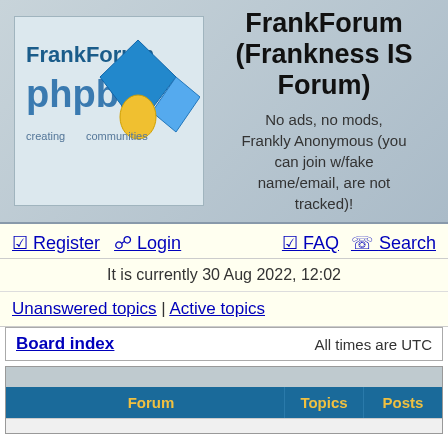[Figure (logo): FrankForum phpBB logo with blue diamond shape and creating communities text]
FrankForum (Frankness IS Forum)
No ads, no mods, Frankly Anonymous (you can join w/fake name/email, are not tracked)!
☑ Register  ⊙ Login  ⊡ FAQ  ⊕ Search
It is currently 30 Aug 2022, 12:02
Unanswered topics | Active topics
| Forum | Topics | Posts |
| --- | --- | --- |